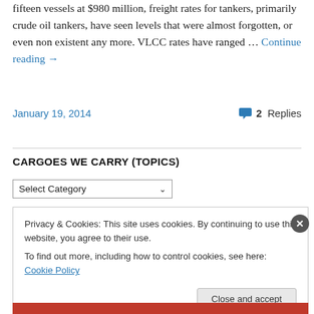fifteen vessels at $980 million, freight rates for tankers, primarily crude oil tankers, have seen levels that were almost forgotten, or even non existent any more. VLCC rates have ranged … Continue reading →
January 19, 2014    2 Replies
CARGOES WE CARRY (TOPICS)
Select Category
Privacy & Cookies: This site uses cookies. By continuing to use this website, you agree to their use.
To find out more, including how to control cookies, see here: Cookie Policy
Close and accept